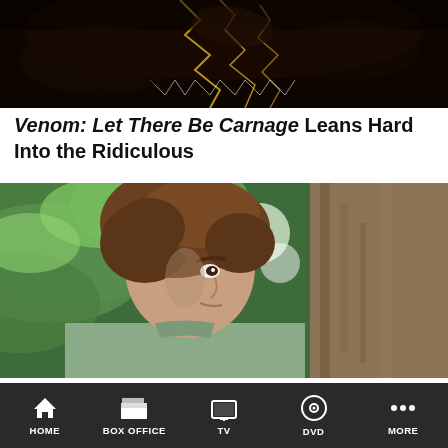[Figure (photo): Dark close-up of Venom creature with black texture and golden/yellow glowing crack lines, menacing teeth visible]
Venom: Let There Be Carnage Leans Hard Into the Ridiculous
[Figure (photo): Young man with curly brown hair wearing a light green polo shirt, leaning against a tree trunk, looking upward, surrounded by green foliage]
Dear Evan Hansen Misses the High Note
HOME  BOX OFFICE  TV  DVD  MORE